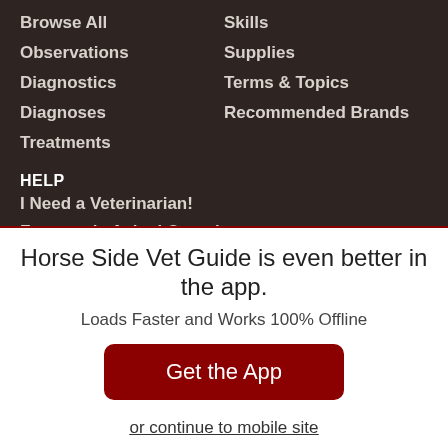Browse All
Skills
Observations
Supplies
Diagnostics
Terms & Topics
Diagnoses
Recommended Brands
Treatments
HELP
I Need a Veterinarian!
Frequently Asked Questions
Horse Side Vet Guide is even better in the app.
Loads Faster and Works 100% Offline
Get the App
or continue to mobile site